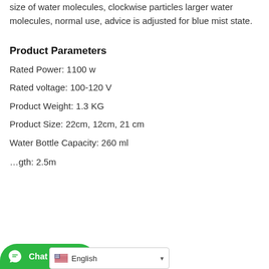size of water molecules, clockwise particles larger water molecules, normal use, advice is adjusted for blue mist state.
Product Parameters
Rated Power: 1100 w
Rated voltage: 100-120 V
Product Weight: 1.3 KG
Product Size: 22cm, 12cm, 21 cm
Water Bottle Capacity: 260 ml
…gth: 2.5m